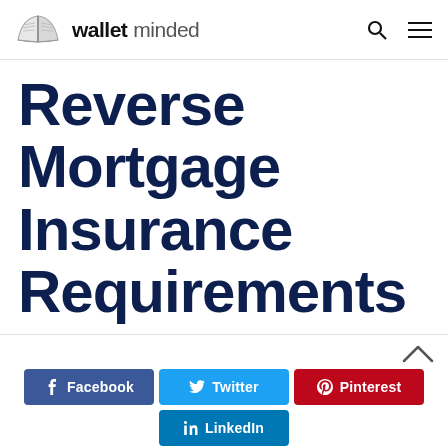walletminded
Reverse Mortgage Insurance Requirements
Facebook  Twitter  Pinterest  LinkedIn (share buttons)